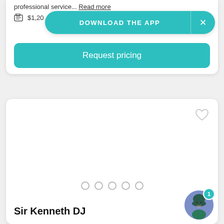professional service... Read more
$1,20...
DOWNLOAD THE APP
Request pricing
[Figure (screenshot): Empty white image area for a DJ listing card]
Sir Kenneth DJ